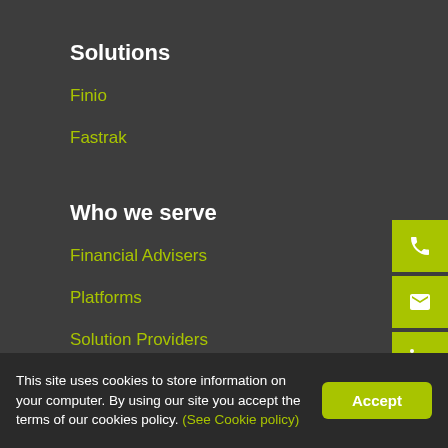Solutions
Finio
Fastrak
Who we serve
Financial Advisers
Platforms
Solution Providers
This site uses cookies to store information on your computer. By using our site you accept the terms of our cookies policy. (See Cookie policy)